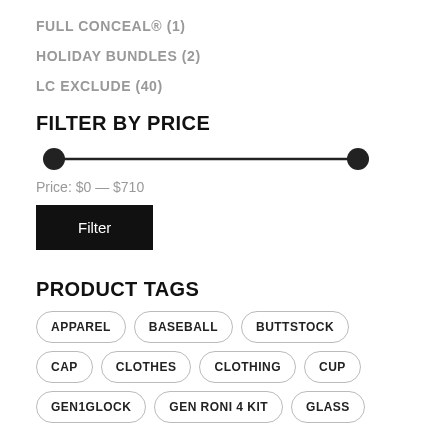FULL CONCEAL® (1)
HOLIDAY BUNDLES (2)
LC EXCLUDE (40)
FILTER BY PRICE
[Figure (other): Price range slider with two handles at $0 and $710]
Price: $0 — $710
Filter
PRODUCT TAGS
APPAREL
BASEBALL
BUTTSTOCK
CAP
CLOTHES
CLOTHING
CUP
GEN1GLOCK
GEN RONI 4 KIT
GLASS